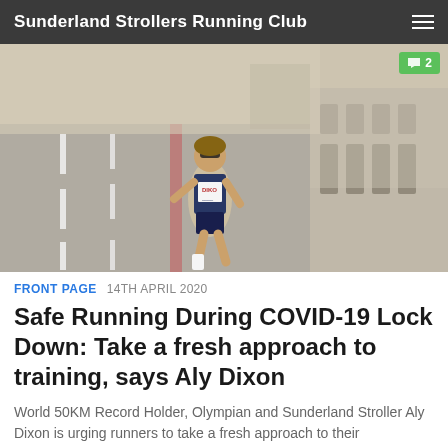Sunderland Strollers Running Club
[Figure (photo): A female athlete wearing a vest with 'DIXON' on it, running on a road during what appears to be a race event. She is wearing sunglasses and running shorts. A green comment badge showing '2' is overlaid in the top right corner.]
FRONT PAGE  14TH APRIL 2020
Safe Running During COVID-19 Lock Down: Take a fresh approach to training, says Aly Dixon
World 50KM Record Holder, Olympian and Sunderland Stroller Aly Dixon is urging runners to take a fresh approach to their